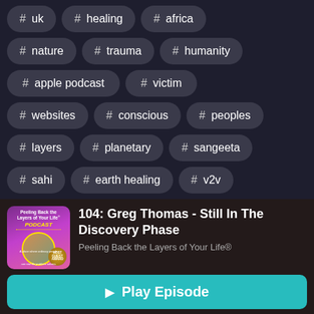# uk
# healing
# africa
# nature
# trauma
# humanity
# apple podcast
# victim
# websites
# conscious
# peoples
# layers
# planetary
# sangeeta
# sahi
# earth healing
# v2v
[Figure (illustration): Podcast cover art for Peeling Back the Layers of Your Life Podcast, showing purple/pink background with host photo and golden badge]
104: Greg Thomas - Still In The Discovery Phase
Peeling Back the Layers of Your Life®
▶ Play Episode